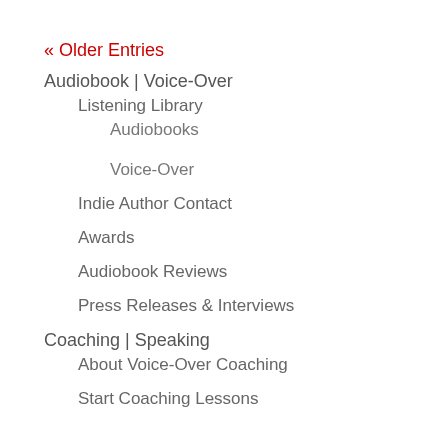« Older Entries
Audiobook | Voice-Over
Listening Library
Audiobooks
Voice-Over
Indie Author Contact
Awards
Audiobook Reviews
Press Releases & Interviews
Coaching | Speaking
About Voice-Over Coaching
Start Coaching Lessons